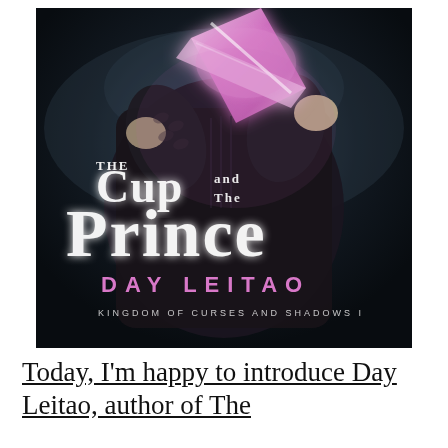[Figure (illustration): Book cover for 'The Cup and the Prince' by Day Leitao. Dark fantasy cover showing a figure in dark clothing holding a glowing pink/purple crystalline object. Title text reads 'THE CUP AND THE PRINCE' in large stylized white lettering. Author name 'DAY LEITAO' in pink letters. Series subtitle 'KINGDOM OF CURSES AND SHADOWS I' in small white caps.]
Today, I'm happy to introduce Day Leitao, author of The